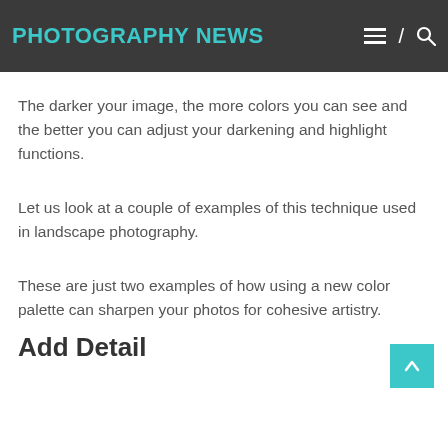PHOTOGRAPHY NEWS
The darker your image, the more colors you can see and the better you can adjust your darkening and highlight functions.
Let us look at a couple of examples of this technique used in landscape photography.
These are just two examples of how using a new color palette can sharpen your photos for cohesive artistry.
Add Detail